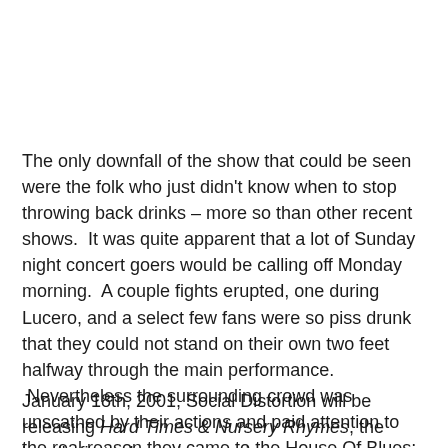The only downfall of the show that could be seen were the folk who just didn't know when to stop throwing back drinks – more so than other recent shows.  It was quite apparent that a lot of Sunday night concert goers would be calling off Monday morning.  A couple fights erupted, one during Lucero, and a select few fans were so piss drunk that they could not stand on their own two feet halfway through the main performance.  Nevertheless the surrounding crowd was unscathed by their actions and paid attention to the real reason they came to the House Of Blues: To take in a Rock N Roll show by one of the best acts out there.
January 18th, 2001, Social Distortion will be releasing Hard Times & Nursery Rhymes, the band's first release in over six